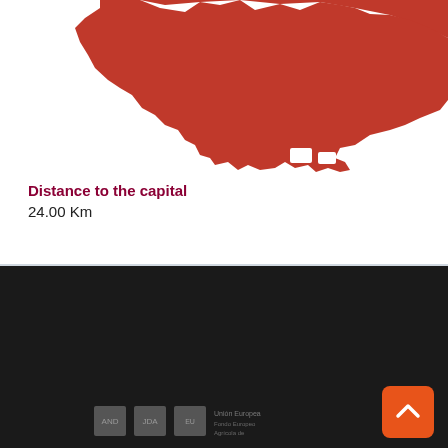[Figure (map): Red silhouette map of the Sevilla province region of Andalusia, Spain, cropped at the top]
Distance to the capital
24.00 Km
[Figure (logo): PRODETUR logo in dark gray on black background]
[Figure (logo): Diputacion de Sevilla logo in dark gray on black background]
[Figure (logo): Andalucia script logo in dark gray on black background]
[Figure (logo): EU and regional funding logos at bottom]
[Figure (other): Orange scroll-to-top arrow button]